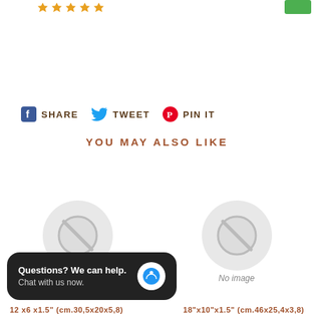[Figure (other): Five gold star rating icons]
SHARE  TWEET  PIN IT
YOU MAY ALSO LIKE
[Figure (other): No image placeholder circle with slash icon, left]
No image
[Figure (other): No image placeholder circle with slash icon, right]
No image
[Figure (other): Chat widget: Questions? We can help. Chat with us now.]
12 x6 x1.5" (cm.30,5x20x5,8)
18"x10"x1.5" (cm.46x25,4x3,8)